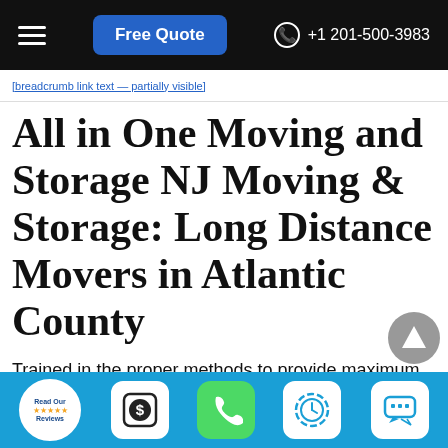Free Quote  +1 201-500-3983
[breadcrumb/link bar — partially visible]
All in One Moving and Storage NJ Moving & Storage: Long Distance Movers in Atlantic County
Trained in the proper methods to provide maximum protection, All in One Moving and Storage NJ Moving & Storage's professional packers use the industry's finest
Read Our Reviews | [price icon] | [phone icon] | [clock icon] | [chat icon]